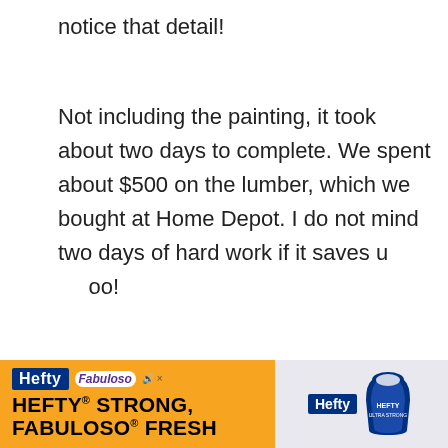notice that detail!
Not including the painting, it took about two days to complete. We spent about $500 on the lumber, which we bought at Home Depot. I do not mind two days of hard work if it saves u[...]00!
The next step was to paint or stain the stairs. I debated between painting the stairs black and white to match the railing or staining them a dark color to match the floors. I tested out a f[...]
[Figure (infographic): Teal/turquoise scroll-to-top button with white upward arrow icon, overlapping text]
[Figure (infographic): Hefty + Fabuloso advertisement banner at bottom: orange left side with Hefty Strong, Fabuloso Fresh tagline; grey right side with Hefty logo and product image]